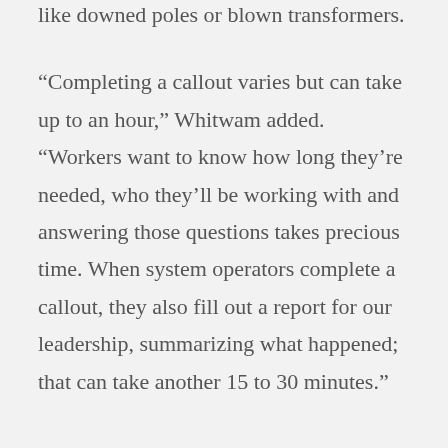like downed poles or blown transformers.
“Completing a callout varies but can take up to an hour,” Whitwam added. “Workers want to know how long they’re needed, who they’ll be working with and answering those questions takes precious time. When system operators complete a callout, they also fill out a report for our leadership, summarizing what happened; that can take another 15 to 30 minutes.”
With ARCOS’ software, emergency response begins when the OMS alerts the system operators to an outage. An operator launches an automated crew callout describing the job, skills required, and more, which typically takes a few minutes to fill. The Crew Manager system